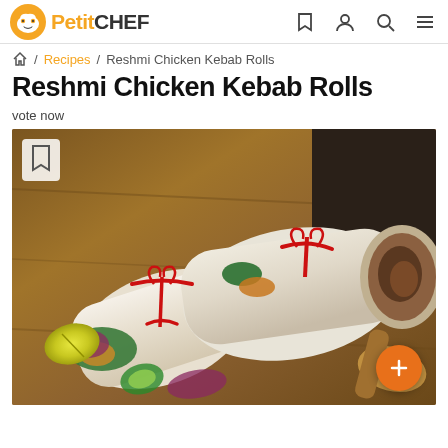PetitCHEF
Home / Recipes / Reshmi Chicken Kebab Rolls
Reshmi Chicken Kebab Rolls
vote now
[Figure (photo): Two Reshmi Chicken Kebab Rolls wrapped in white flatbread and tied with red string, placed on a wooden board with lime wedges, cucumber slices, and red onion visible]